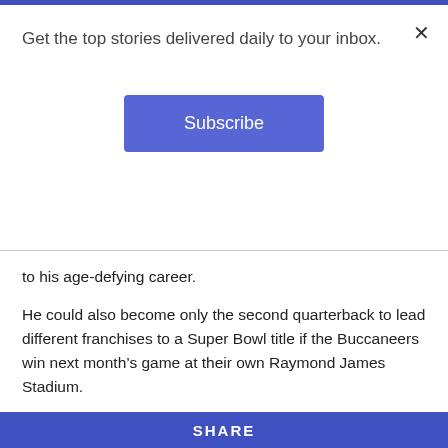Get the top stories delivered daily to your inbox.
Subscribe
to his age-defying career.
He could also become only the second quarterback to lead different franchises to a Super Bowl title if the Buccaneers win next month’s game at their own Raymond James Stadium.
“We’ll get to enjoy this a little bit and then get ready to go against whoever we play,” said Brady.
The Buccaneers will face either the Buffalo Bills or the reigning Super Bowl champion Kansas City Chiefs. The Bills and the Chiefs were playing Sunday in the AFC
SHARE